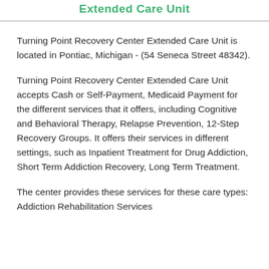Extended Care Unit
Turning Point Recovery Center Extended Care Unit is located in Pontiac, Michigan - (54 Seneca Street 48342).
Turning Point Recovery Center Extended Care Unit accepts Cash or Self-Payment, Medicaid Payment for the different services that it offers, including Cognitive and Behavioral Therapy, Relapse Prevention, 12-Step Recovery Groups. It offers their services in different settings, such as Inpatient Treatment for Drug Addiction, Short Term Addiction Recovery, Long Term Treatment.
The center provides these services for these care types: Addiction Rehabilitation Services